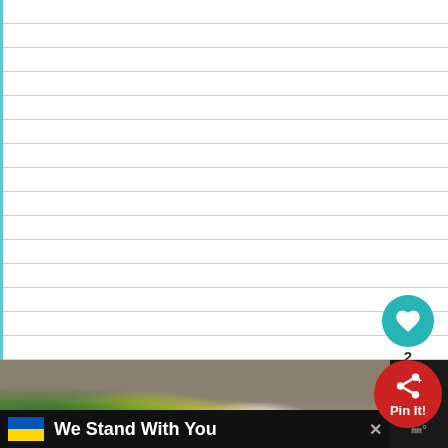[Figure (other): White lined paper background with teal/blue left border and horizontal light blue lines]
[Figure (photo): Food photo showing lemons, limes, and other citrus fruits with green leaves on a gray surface]
[Figure (infographic): Pin It button with teal heart circle icon (2 likes), red share button circle with share icon and 'Pin It!' text]
We Stand With You
[Figure (other): Ukraine flag icon (blue and yellow) next to 'We Stand With You' ad banner on black background with close X button]